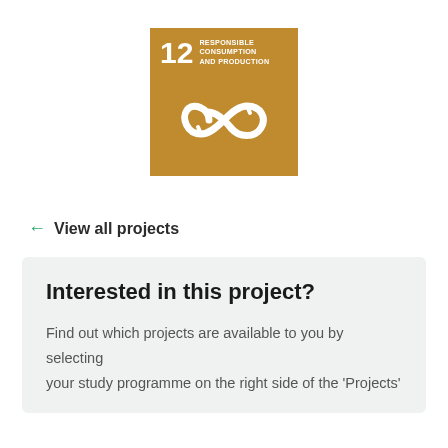[Figure (logo): UN SDG Goal 12 logo: golden/dark yellow square with '12' and text 'RESPONSIBLE CONSUMPTION AND PRODUCTION', with an infinity/recycle symbol icon in white.]
← View all projects
Interested in this project?
Find out which projects are available to you by selecting your study programme on the right side of the 'Projects'